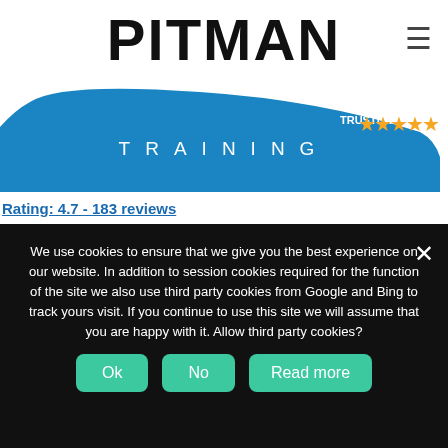[Figure (logo): Pitman Training logo with blue curved band and 'PITMAN TRAINING' text]
Rating: 4.7 - 183 reviews
First Name
Last Name
Telephone (required)
Phone Number
We use cookies to ensure that we give you the best experience on our website. In addition to session cookies required for the function of the site we also use third party cookies from Google and Bing to track yours visit. If you continue to use this site we will assume that you are happy with it. Allow third party cookies?